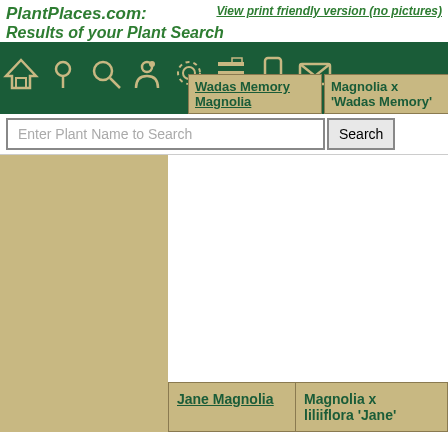PlantPlaces.com: View print friendly version (no pictures) Results of your Plant Search
[Figure (screenshot): Navigation bar with green background, icons for home, location, search, person, settings, list, mobile, and email]
| Common Name | Scientific Name | Size |
| --- | --- | --- |
| Wadas Memory Magnolia | Magnolia x 'Wadas Memory' | 15 fe
30 fe |
Enter Plant Name to Search
| Common Name | Scientific Name | Size |
| --- | --- | --- |
| Jane Magnolia | Magnolia x liliiflora 'Jane' | 10 fe
15 fe |